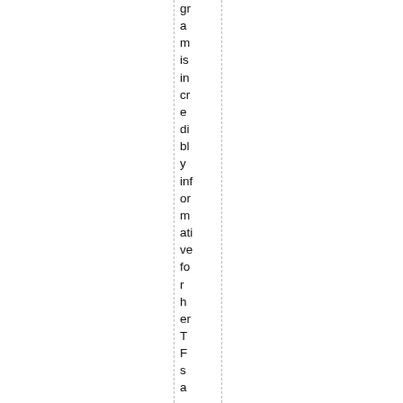gr
a
m
is
in
cr
e
di
bl
y
inf
or
m
ati
ve
fo
r
h
er
T
F
s
a
n
d
th
ey
st
ar
t
th